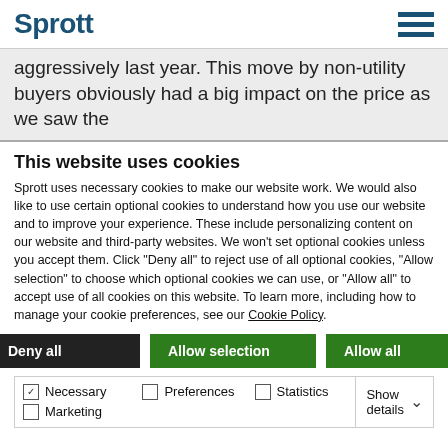Sprott
aggressively last year. This move by non-utility buyers obviously had a big impact on the price as we saw the
This website uses cookies
Sprott uses necessary cookies to make our website work. We would also like to use certain optional cookies to understand how you use our website and to improve your experience. These include personalizing content on our website and third-party websites. We won't set optional cookies unless you accept them. Click "Deny all" to reject use of all optional cookies, "Allow selection" to choose which optional cookies we can use, or "Allow all" to accept use of all cookies on this website. To learn more, including how to manage your cookie preferences, see our Cookie Policy.